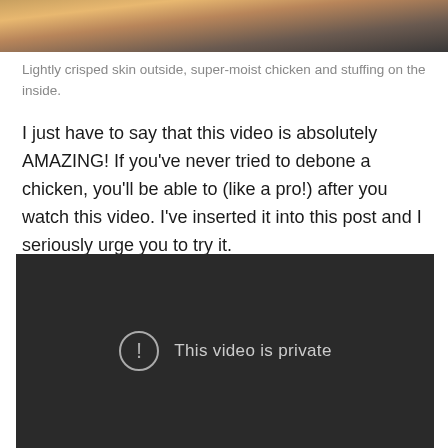[Figure (photo): Partial photo of a roasted chicken dish, cropped at top showing golden-brown and dark tones]
Lightly crisped skin outside, super-moist chicken and stuffing on the inside.
I just have to say that this video is absolutely AMAZING! If you've never tried to debone a chicken, you'll be able to (like a pro!) after you watch this video. I've inserted it into this post and I seriously urge you to try it.
[Figure (screenshot): Embedded video player with dark background showing error message: 'This video is private' with an exclamation mark circle icon]